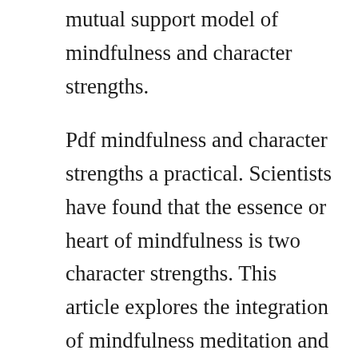mutual support model of mindfulness and character strengths.
Pdf mindfulness and character strengths a practical. Scientists have found that the essence or heart of mindfulness is two character strengths. This article explores the integration of mindfulness meditation and character strengths. It is not only those who are new to mindfulness or to character strengths who will appreciate the detailed primers on these topics in the first section of the book. Mindfulness practice and character